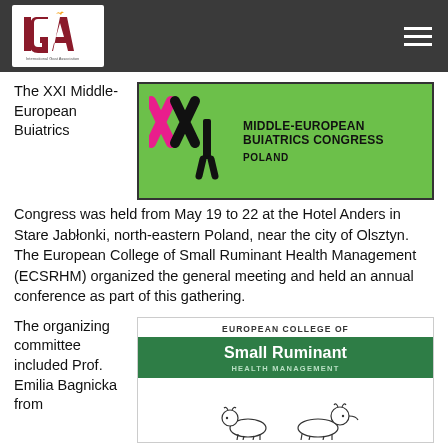IGA - International Goat Association
[Figure (logo): XXI Middle-European Buiatrics Congress Poland banner with stylized XXI lettering in pink and black on green background]
The XXI Middle-European Buiatrics Congress was held from May 19 to 22 at the Hotel Anders in Stare Jabłonki, north-eastern Poland, near the city of Olsztyn. The European College of Small Ruminant Health Management (ECSRHM) organized the general meeting and held an annual conference as part of this gathering.
The organizing committee included Prof. Emilia Bagnicka from
[Figure (logo): European College of Small Ruminant Health Management logo with green banner and goat illustrations]